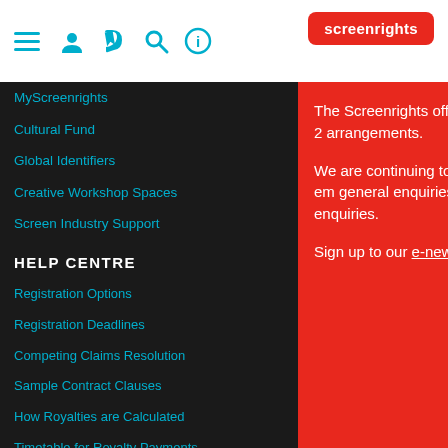screenrights [logo]
MyScreenrights
Access Educational Content
Cultural Fund
Global Identifiers
Creative Workshop Spaces
Screen Industry Support
HELP CENTRE
ABOU
Registration Options
What W
Registration Deadlines
Vision,
Competing Claims Resolution
Our Pe
Sample Contract Clauses
Corpo
How Royalties are Calculated
Workin
Timetable for Royalty Payments
Media
+ Many More...
Media
The Screenrights off Thursday 19 March 2 arrangements. We are continuing to call as normal, or em general enquiries an member enquiries. Sign up to our e-new further development